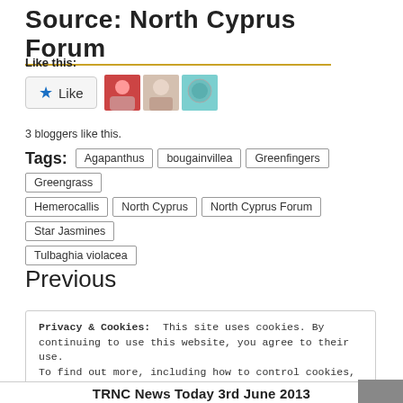Source:  North Cyprus Forum
Like this:
[Figure (other): Like button widget with star icon and 3 blogger avatars]
3 bloggers like this.
Tags: Agapanthus bougainvillea Greenfingers Greengrass Hemerocallis North Cyprus North Cyprus Forum Star Jasmines Tulbaghia violacea
Previous
Privacy & Cookies:  This site uses cookies. By continuing to use this website, you agree to their use.
To find out more, including how to control cookies, see here: Cookie Policy
TRNC News Today 3rd June 2013